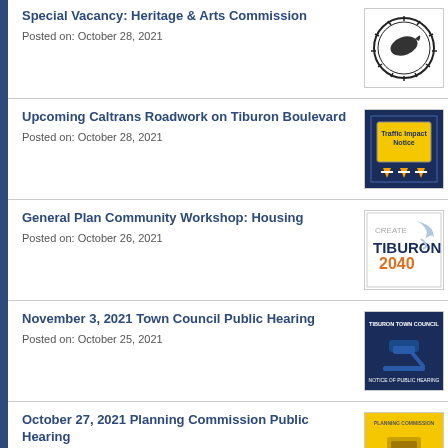Special Vacancy: Heritage & Arts Commission
Posted on: October 28, 2021
Upcoming Caltrans Roadwork on Tiburon Boulevard
Posted on: October 28, 2021
General Plan Community Workshop: Housing
Posted on: October 26, 2021
November 3, 2021 Town Council Public Hearing
Posted on: October 25, 2021
October 27, 2021 Planning Commission Public Hearing
Posted on: October 18, 2021
Tiburon Police Living and Growing Together